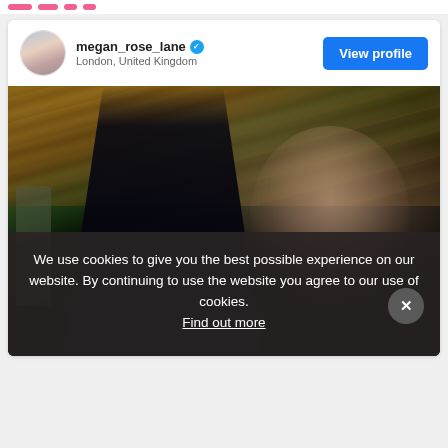megan_rose_lane · London, United Kingdom
View profile
[Figure (photo): Instagram-style post card showing a young woman in a black outfit resting her head on her arm, smiling, in an outdoor pavilion with wood ceiling. A background figure is visible. Profile header shows megan_rose_lane verified, London, United Kingdom, with a blue View profile button.]
We use cookies to give you the best possible experience on our website. By continuing to use the website you agree to our use of cookies. Find out more